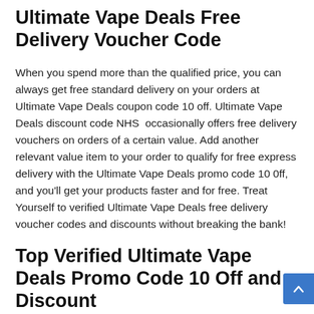Ultimate Vape Deals Free Delivery Voucher Code
When you spend more than the qualified price, you can always get free standard delivery on your orders at Ultimate Vape Deals coupon code 10 off. Ultimate Vape Deals discount code NHS  occasionally offers free delivery vouchers on orders of a certain value. Add another relevant value item to your order to qualify for free express delivery with the Ultimate Vape Deals promo code 10 0ff, and you'll get your products faster and for free. Treat Yourself to verified Ultimate Vape Deals free delivery voucher codes and discounts without breaking the bank!
Top Verified Ultimate Vape Deals Promo Code 10 Off and Discount